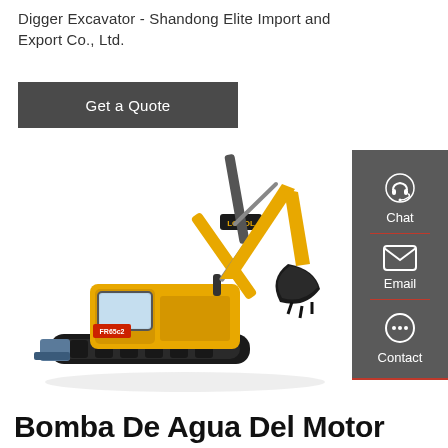Digger Excavator - Shandong Elite Import and Export Co., Ltd.
[Figure (other): Dark gray 'Get a Quote' button]
[Figure (photo): Yellow LOVOL mini excavator (model FR65c2) on a white background, shown in profile with arm extended and bucket lowered, tracks visible, blade in front]
[Figure (other): Sidebar with Chat, Email, and Contact icons on a dark gray background with red dividers]
Bomba De Agua Del Motor